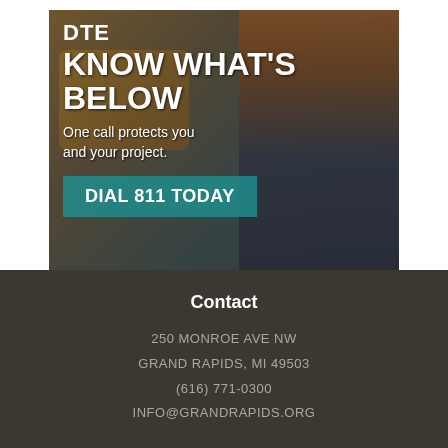[Figure (infographic): DTE 'Know What's Below' advertisement showing a construction worker in an orange safety vest standing near excavation equipment, with text 'KNOW WHAT'S BELOW', 'One call protects you and your project.' and a teal 'DIAL 811 TODAY' button]
Contact
250 MONROE AVE NW
GRAND RAPIDS, MI 49503
(616) 771-0300
INFO@GRANDRAPIDS.ORG